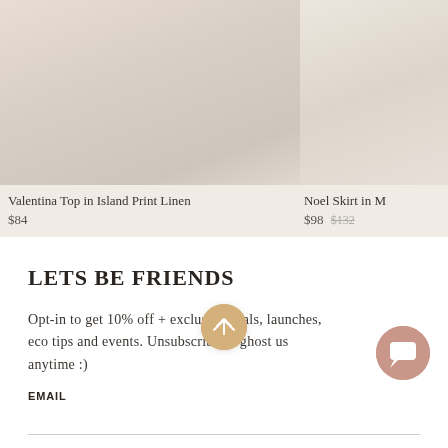[Figure (photo): Product photo of Valentina Top in Island Print Linen, light beige/cream fabric on model, partial view at top of page]
Valentina Top in Island Print Linen
$84
[Figure (photo): Partial product photo of Noel Skirt, light beige fabric, cropped at right edge]
Noel Skirt in M
$98 $132
LETS BE FRIENDS
Opt-in to get 10% off + exclusive deals, launches, eco tips and events. Unsubscribe or ghost us anytime :)
EMAIL